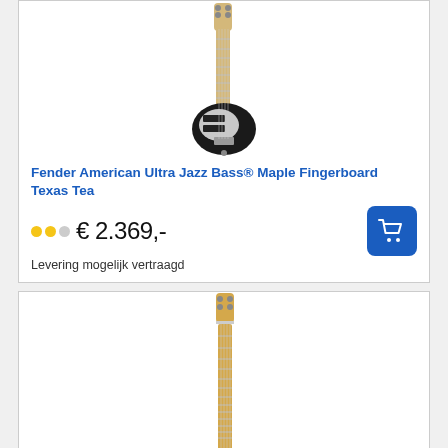[Figure (photo): Fender American Ultra Jazz Bass in black/Texas Tea colorway with maple fingerboard, shown vertically]
Fender American Ultra Jazz Bass® Maple Fingerboard Texas Tea
€ 2.369,-
Levering mogelijk vertraagd
[Figure (photo): Fender bass guitar in blue color with maple fingerboard, shown vertically, partially cut off at bottom]